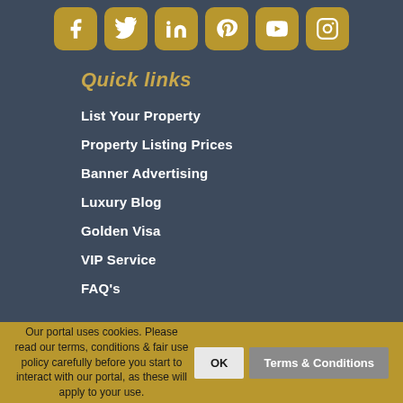[Figure (other): Row of six social media icons (Facebook, Twitter, LinkedIn, Pinterest, YouTube, Instagram) in gold rounded square buttons]
Quick links
List Your Property
Property Listing Prices
Banner Advertising
Luxury Blog
Golden Visa
VIP Service
FAQ's
Our portal uses cookies. Please read our terms, conditions & fair use policy carefully before you start to interact with our portal, as these will apply to your use.